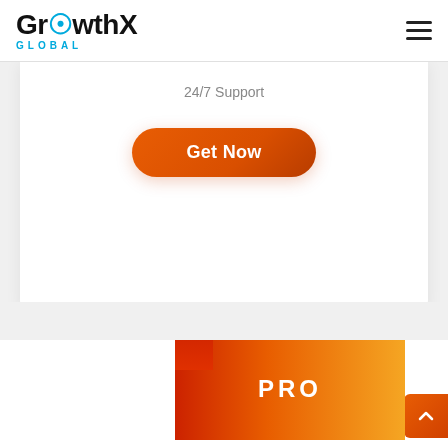GrowthX GLOBAL
24/7 Support
Get Now
PRO
[Figure (illustration): Diamond gem icon with orange sun/glow behind it and sparkle lines radiating from the top center]